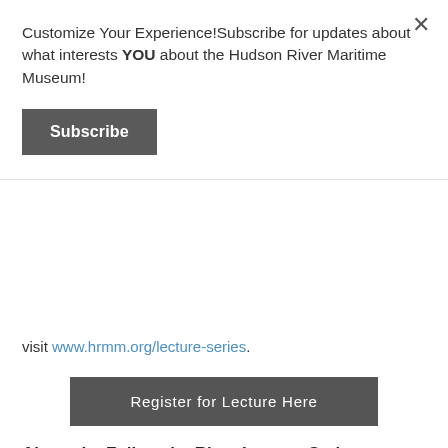Customize Your Experience!Subscribe for updates about what interests YOU about the Hudson River Maritime Museum!
Subscribe
visit www.hrmm.org/lecture-series.
Register for Lecture Here
About the Follow the River Lecture Series
For more than a decade the Hudson River Maritime Museum's 'Follow the River Lecture Series' has hosted historians, authors, and maritime experts for engaging illustrated talks on a variety of regional history and maritime subjects. In recent years, many of the lectures have also been recorded and are available on YouTube. For more information about upcoming